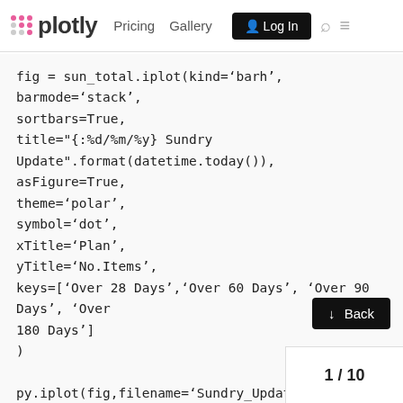plotly  Pricing  Gallery  Log In
fig = sun_total.iplot(kind='barh',
barmode='stack',
sortbars=True,
title="{:%d/%m/%y} Sundry Update".format(datetime.today()),
asFigure=True,
theme='polar',
symbol='dot',
xTitle='Plan',
yTitle='No.Items',
keys=['Over 28 Days','Over 60 Days', 'Over 90 Days', 'Over 180 Days']
)

py.iplot(fig,filename='Sundry_Update.html',config=UNBRAND_CONFIG)

first_url_plot = py.plot(fig,filename= file_path + 'Sundry' +
datetime.strftime(datetime.now(), '%d%m
config=UNBRAND_CONFIG, auto_open=F
1 / 10